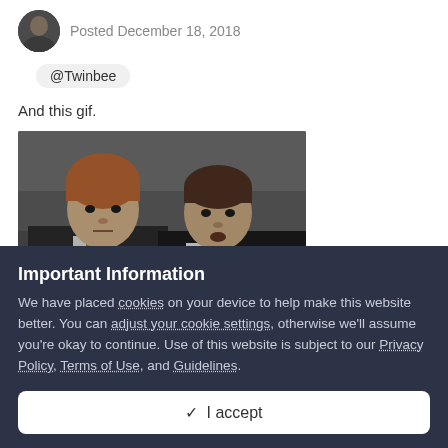Posted December 18, 2018
@Twinbee
And this gif.
[Figure (photo): Black and white or muted-color GIF frame showing two men in suits facing the camera, one with reddish/light hair on the left and one with darker hair on the right, appearing to be from a British TV show or film.]
Important Information
We have placed cookies on your device to help make this website better. You can adjust your cookie settings, otherwise we'll assume you're okay to continue. Use of this website is subject to our Privacy Policy, Terms of Use, and Guidelines.
✓  I accept